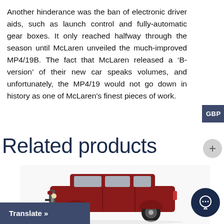Another hinderance was the ban of electronic driver aids, such as launch control and fully-automatic gear boxes. It only reached halfway through the season until McLaren unveiled the much-improved MP4/19B. The fact that McLaren released a 'B-version' of their new car speaks volumes, and unfortunately, the MP4/19 would not go down in history as one of McLaren's finest pieces of work.
Related products
[Figure (photo): Red SUV model car (die-cast scale model), appears to be a vintage Toyota Land Cruiser or similar, photographed on white background]
Translate »